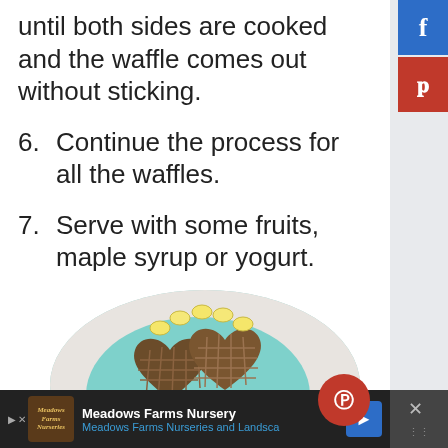until both sides are cooked and the waffle comes out without sticking.
6. Continue the process for all the waffles.
7. Serve with some fruits, maple syrup or yogurt.
[Figure (photo): Circular photo of heart-shaped waffles on teal plate with banana slices, viewed from above on marble surface]
Meadows Farms Nursery
Meadows Farms Nurseries and Landsca